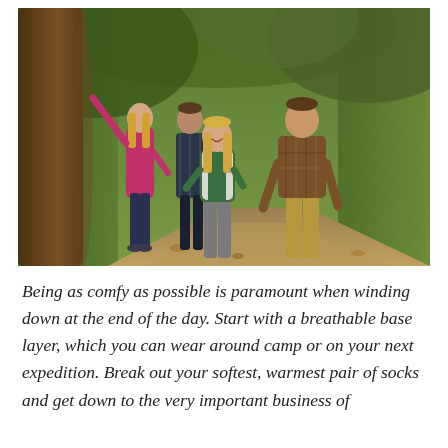[Figure (photo): Four young adults walking on a forest trail. A woman in a magenta jacket points upward on the left, a man in a dark plaid shirt behind her, a woman in a green vest and grey pants in the center smiling, and a man in a brown plaid shirt and khaki pants on the right. Dense green foliage and tree trunks surround them.]
Being as comfy as possible is paramount when winding down at the end of the day. Start with a breathable base layer, which you can wear around camp or on your next expedition. Break out your softest, warmest pair of socks and get down to the very important business of